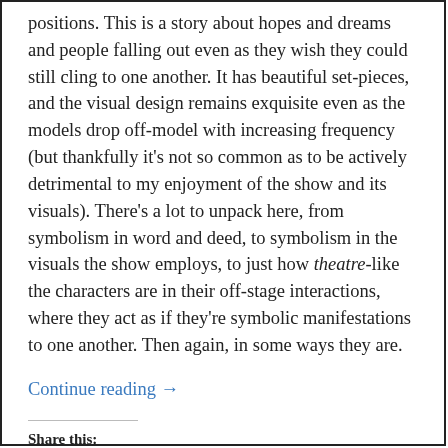positions. This is a story about hopes and dreams and people falling out even as they wish they could still cling to one another. It has beautiful set-pieces, and the visual design remains exquisite even as the models drop off-model with increasing frequency (but thankfully it's not so common as to be actively detrimental to my enjoyment of the show and its visuals). There's a lot to unpack here, from symbolism in word and deed, to symbolism in the visuals the show employs, to just how theatre-like the characters are in their off-stage interactions, where they act as if they're symbolic manifestations to one another. Then again, in some ways they are.
Continue reading →
Share this: